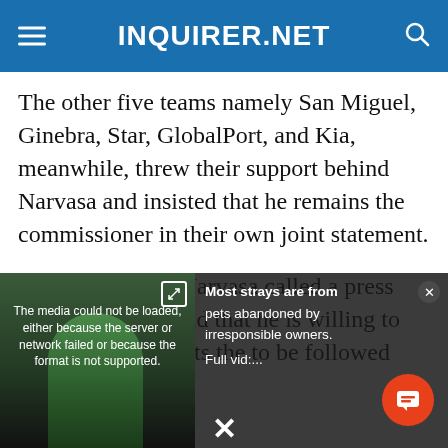INQUIRER.NET
The other five teams namely San Miguel, Ginebra, Star, GlobalPort, and Kia, meanwhile, threw their support behind Narvasa and insisted that he remains the commissioner in their own joint statement.
Later in the day, Narvasa called a press conference and said that he is willing to resign, but he wants the to be followed and for those
[Figure (screenshot): Video player overlay showing a media error message: 'The media could not be loaded, either because the server or network failed or because the format is not supported.' Alongside text reading 'Most strays are from pets abandoned by irresponsible owners. Full vid:...' with a person in a green shirt visible on the left side of the overlay.]